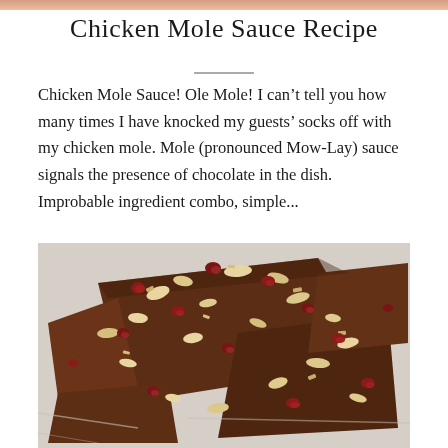Chicken Mole Sauce Recipe
Chicken Mole Sauce! Ole Mole! I can't tell you how many times I have knocked my guests' socks off with my chicken mole. Mole (pronounced Mow-Lay) sauce signals the presence of chocolate in the dish. Improbable ingredient combo, simple...
[Figure (photo): Chocolate bark pieces topped with chopped nuts and dried cranberries on a light surface]